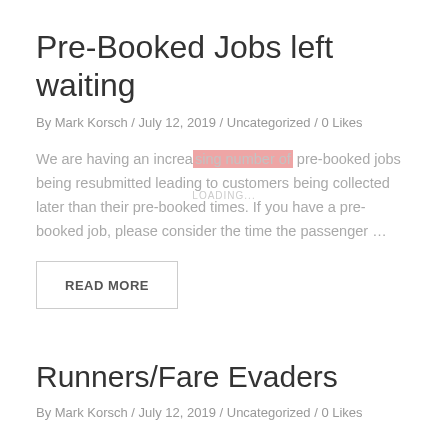Pre-Booked Jobs left waiting
By Mark Korsch / July 12, 2019 / Uncategorized / 0 Likes
We are having an increasing number of pre-booked jobs being resubmitted leading to customers being collected later than their pre-booked times. If you have a pre-booked job, please consider the time the passenger …
READ MORE
Runners/Fare Evaders
By Mark Korsch / July 12, 2019 / Uncategorized / 0 Likes